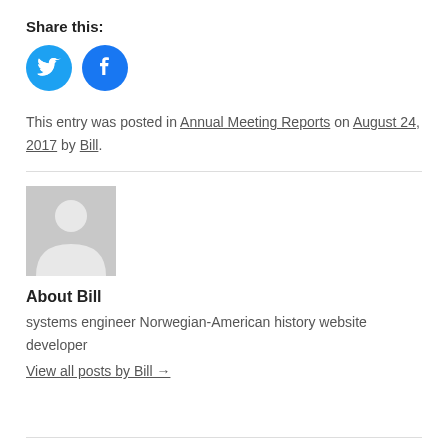Share this:
[Figure (illustration): Twitter and Facebook social sharing icon buttons (circular blue icons)]
This entry was posted in Annual Meeting Reports on August 24, 2017 by Bill.
[Figure (photo): Grey placeholder avatar image of a person silhouette]
About Bill
systems engineer Norwegian-American history website developer
View all posts by Bill →